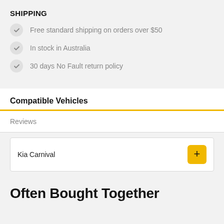SHIPPING
Free standard shipping on orders over $50
In stock in Australia
30 days No Fault return policy
Compatible Vehicles
Reviews
Kia Carnival
Often Bought Together